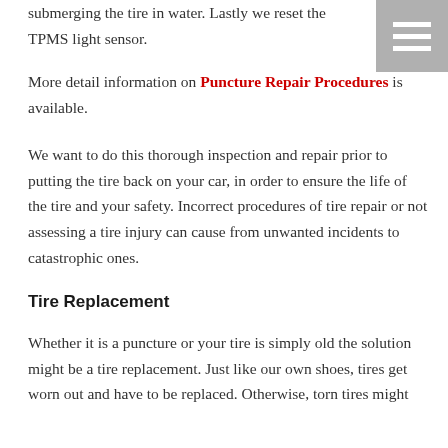submerging the tire in water. Lastly we reset the TPMS light sensor.
[Figure (other): Hamburger menu icon — three white horizontal bars on a grey square background]
More detail information on Puncture Repair Procedures is available.
We want to do this thorough inspection and repair prior to putting the tire back on your car, in order to ensure the life of the tire and your safety. Incorrect procedures of tire repair or not assessing a tire injury can cause from unwanted incidents to catastrophic ones.
Tire Replacement
Whether it is a puncture or your tire is simply old the solution might be a tire replacement. Just like our own shoes, tires get worn out and have to be replaced. Otherwise, torn tires might